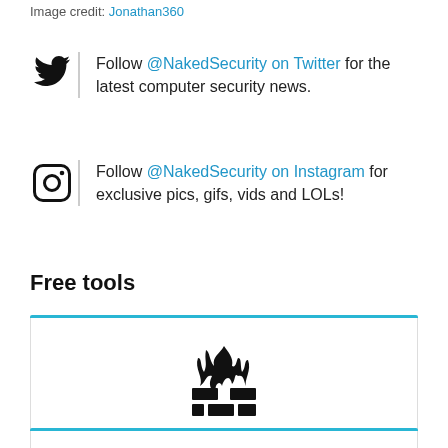Image credit: Jonathan360
Follow @NakedSecurity on Twitter for the latest computer security news.
Follow @NakedSecurity on Instagram for exclusive pics, gifs, vids and LOLs!
Free tools
[Figure (illustration): Firewall brick wall with flames icon, with card titled Sophos Firewall Home Edition. Boost your home network security.]